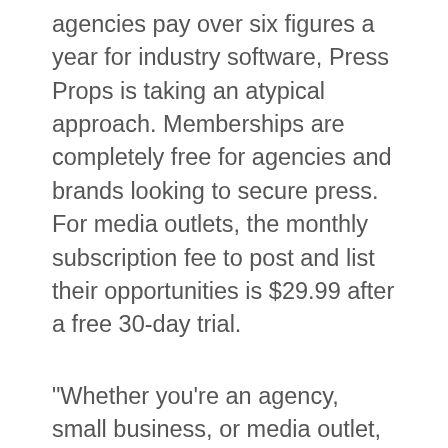agencies pay over six figures a year for industry software, Press Props is taking an atypical approach. Memberships are completely free for agencies and brands looking to secure press. For media outlets, the monthly subscription fee to post and list their opportunities is $29.99 after a free 30-day trial.
"Whether you’re an agency, small business, or media outlet, we all rely on one another to survive. Curated partnerships are an important part of this ecosystem. Press Props will help everyone in the industry be more effective for both their clients and their businesses," said Liem